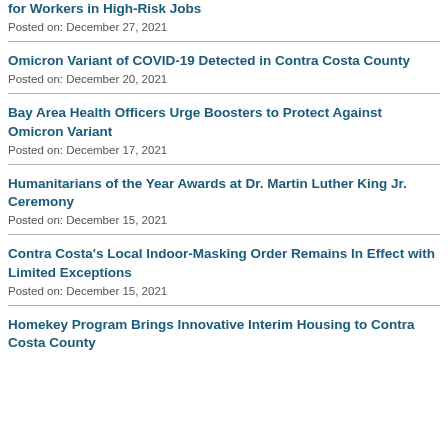for Workers in High-Risk Jobs
Posted on: December 27, 2021
Omicron Variant of COVID-19 Detected in Contra Costa County
Posted on: December 20, 2021
Bay Area Health Officers Urge Boosters to Protect Against Omicron Variant
Posted on: December 17, 2021
Humanitarians of the Year Awards at Dr. Martin Luther King Jr. Ceremony
Posted on: December 15, 2021
Contra Costa's Local Indoor-Masking Order Remains In Effect with Limited Exceptions
Posted on: December 15, 2021
Homekey Program Brings Innovative Interim Housing to Contra Costa County